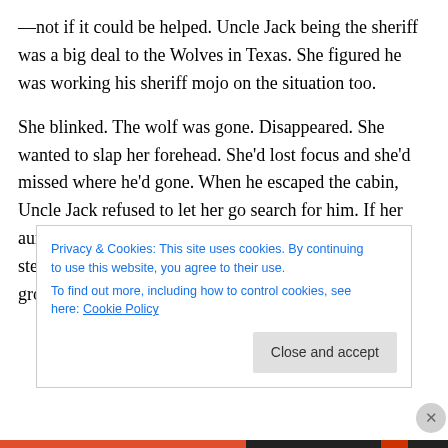—not if it could be helped. Uncle Jack being the sheriff was a big deal to the Wolves in Texas. She figured he was working his sheriff mojo on the situation too.
She blinked. The wolf was gone. Disappeared. She wanted to slap her forehead. She'd lost focus and she'd missed where he'd gone. When he escaped the cabin, Uncle Jack refused to let her go search for him. If her aunt and uncle found out she was pilfering roasts and steaks from the fridge to put out for him, she'd be grounded for life.
Privacy & Cookies: This site uses cookies. By continuing to use this website, you agree to their use. To find out more, including how to control cookies, see here: Cookie Policy